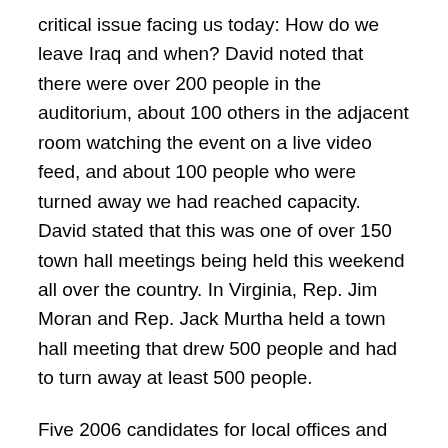critical issue facing us today: How do we leave Iraq and when? David noted that there were over 200 people in the auditorium, about 100 others in the adjacent room watching the event on a live video feed, and about 100 people who were turned away we had reached capacity. David stated that this was one of over 150 town hall meetings being held this weekend all over the country. In Virginia, Rep. Jim Moran and Rep. Jack Murtha held a town hall meeting that drew 500 people and had to turn away at least 500 people.
Five 2006 candidates for local offices and five elected officials were present at the event. Congressman Mark Kirk from the Tenth Congressional District was invited to add his unique perspective to this outstanding panel, but declined.
As moderator, Aaron Freeman set the guidelines for the question and answer period and vowed to censor